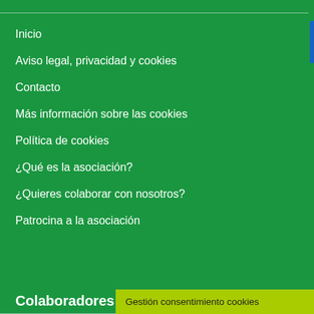Inicio
Aviso legal, privacidad y cookies
Contacto
Más información sobre las cookies
Política de cookies
¿Qué es la asociación?
¿Quieres colaborar con nosotros?
Patrocina a la asociación
Colaboradores de la #APdCS
Gestión consentimiento cookies